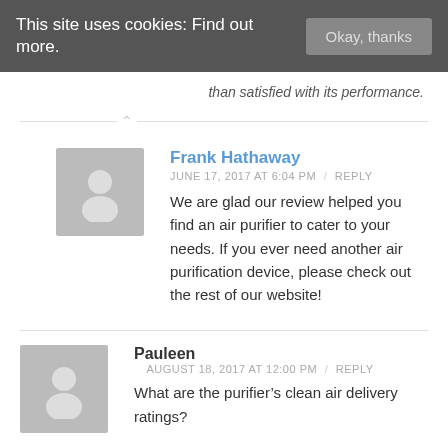This site uses cookies: Find out more.
than satisfied with its performance.
Frank Hathaway
JUNE 17, 2017 AT 6:04 PM / REPLY
We are glad our review helped you find an air purifier to cater to your needs. If you ever need another air purification device, please check out the rest of our website!
Pauleen
AUGUST 18, 2017 AT 12:00 PM / REPLY
What are the purifier’s clean air delivery ratings?